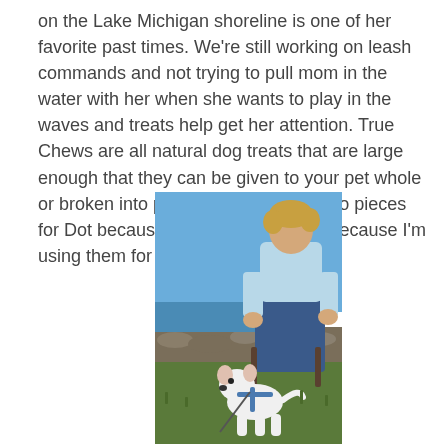on the Lake Michigan shoreline is one of her favorite past times. We're still working on leash commands and not trying to pull mom in the water with her when she wants to play in the waves and treats help get her attention. True Chews are all natural dog treats that are large enough that they can be given to your pet whole or broken into pieces. I break them into pieces for Dot because she's still small and because I'm using them for training right now.
[Figure (photo): A woman in a light blue top and blue jeans sits outdoors near the Lake Michigan shoreline on a sunny day, with a small white dog wearing a blue harness sitting in front of her on green grass. Rocks and water are visible in the background along with a sign.]